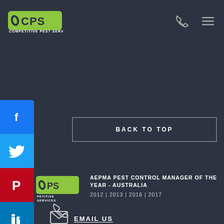[Figure (logo): CPS Competitive Pest Services logo with green CPS letters and white text COMPETITIVE PEST SERVICES]
[Figure (illustration): Phone icon (white outline) in top right header]
[Figure (illustration): Hamburger menu icon (three horizontal lines, white) in top right header]
[Figure (illustration): Blue Facebook social share button with f icon]
[Figure (illustration): Blue Twitter social share button with bird icon]
[Figure (illustration): Red Pinterest social share button with P icon]
[Figure (illustration): Blue LinkedIn social share button with in icon]
BACK TO TOP
[Figure (logo): CPS Competitive Pest Services footer logo (partial, green and white)]
AEPMA PEST CONTROL MANAGER OF THE YEAR - AUSTRALIA
2012 | 2013 | 2016 | 2017
[Figure (illustration): Phone handset icon (white outline)]
[Figure (illustration): Envelope/email icon (white outline)]
EMAIL US